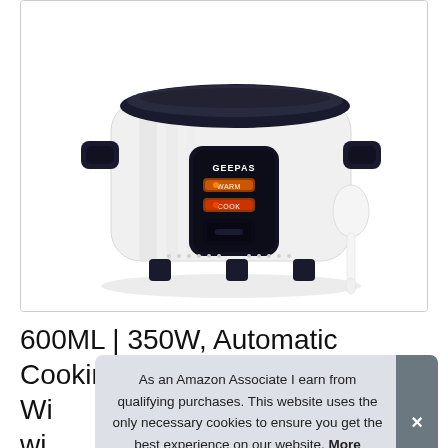[Figure (photo): Geepas brand white rice cooker with black lid and handles, showing front panel with WARM and COOK indicator lights, with a white serving spoon/ladle beside it, on white background]
600ML | 350W, Automatic Cooking, Wi... wi... Inn... Food & Vegetables Includes Measuring...
As an Amazon Associate I earn from qualifying purchases. This website uses the only necessary cookies to ensure you get the best experience on our website. More information